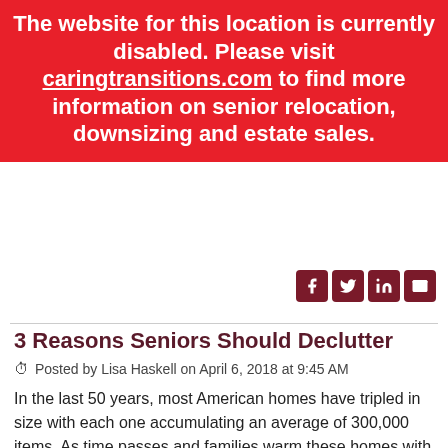The website for this location is currently disabled. Please visit caringtransitions.com to find more information on senior relocation, downsizing and estate sales.
Tagged: Senior Downsizing, Downsizing, Relocation, Decluttering, Aging in Place, Sorting, Estate Sales, CT Info, CT Blog, Senior Relocation, Caring Transitions, Online Estate Sales, CTBids, Online Shopping, COVID-19, Healthy Aging
3 Reasons Seniors Should Declutter
Posted by Lisa Haskell on April 6, 2018 at 9:45 AM
In the last 50 years, most American homes have tripled in size with each one accumulating an average of 300,000 items. As time passes and families warm these homes with loving moments and touching memories, we become connected to each item in our possession over the years.